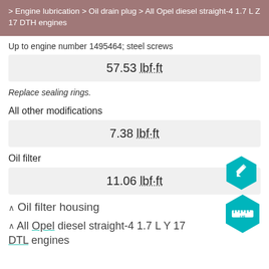> Engine lubrication > Oil drain plug > All Opel diesel straight-4 1.7 L Z 17 DTH engines
Up to engine number 1495464; steel screws
57.53 lbf·ft
Replace sealing rings.
All other modifications
7.38 lbf·ft
Oil filter
11.06 lbf·ft
∧ Oil filter housing
∧ All Opel diesel straight-4 1.7 L Y 17 DTL engines